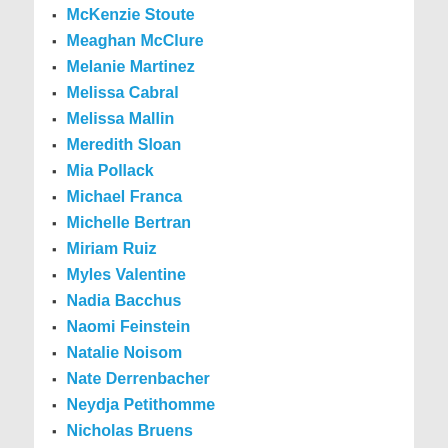McKenzie Stoute
Meaghan McClure
Melanie Martinez
Melissa Cabral
Melissa Mallin
Meredith Sloan
Mia Pollack
Michael Franca
Michelle Bertran
Miriam Ruiz
Myles Valentine
Nadia Bacchus
Naomi Feinstein
Natalie Noisom
Nate Derrenbacher
Neydja Petithomme
Nicholas Bruens
Nick Carra
Nicolas Iparraguirre
Nicole Hood
Nicole Lembo
Nicole Lopez-Alvar